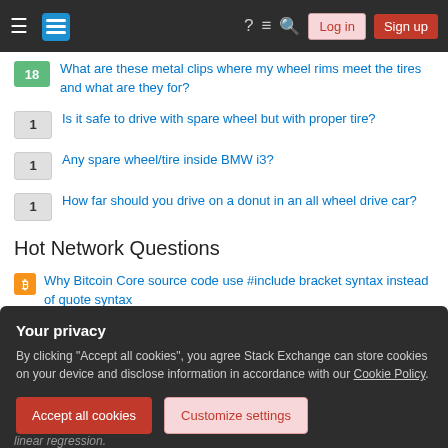Stack Exchange navigation bar with Log in and Sign up buttons
18 — What are these metal clips where my wheel rims meet the tires and what are they for?
1 — Is it safe to drive with spare wheel but with proper tire?
1 — Any spare wheel/tire inside BMW i3?
1 — How far should you drive on a donut in an all wheel drive car?
Hot Network Questions
Why Bitcoin Core source code use #include bracket syntax instead of quote syntax
identify the point of intersection from two distributions
Your privacy
By clicking "Accept all cookies", you agree Stack Exchange can store cookies on your device and disclose information in accordance with our Cookie Policy.
linear regression.